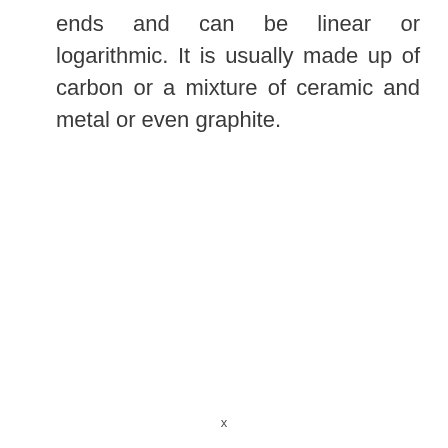ends and can be linear or logarithmic. It is usually made up of carbon or a mixture of ceramic and metal or even graphite.
x